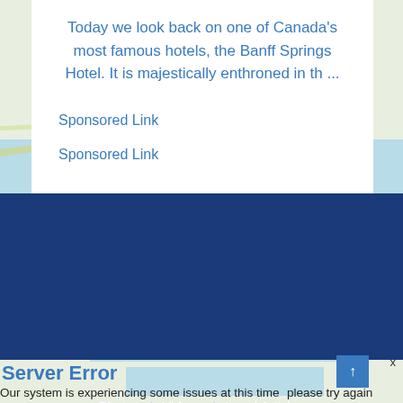Today we look back on one of Canada's most famous hotels, the Banff Springs Hotel. It is majestically enthroned in th ...
Sponsored Link
Sponsored Link
[Figure (map): Map strip showing geographic area with water and roads]
Photos | Videos | Local Articles
© 2022 Hello Quebec - All Rights Reserved.
Privacy Policy | Terms & Conditions | Contact Us
[Figure (map): Map background at bottom of page]
Server Error
Our system is experiencing some issues at this time please try again later.